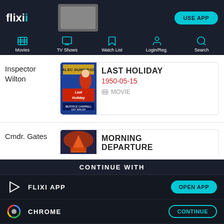flixi — USE APP — Movies, TV Shows, Watch List, Login/Reg., Search
Inspector Wilton
[Figure (screenshot): Movie card for LAST HOLIDAY, dated 1950-05-15, type MOVIE, with poster showing Alec Guinness Last Holiday film art]
Cmdr. Gates
[Figure (screenshot): Movie card for MORNING DEPARTURE, dated 1950-02-21, type MOVIE, with poster showing Operation Disaster film art]
CONTINUE WITH
FLIXI APP — OPEN APP
CHROME — CONTINUE